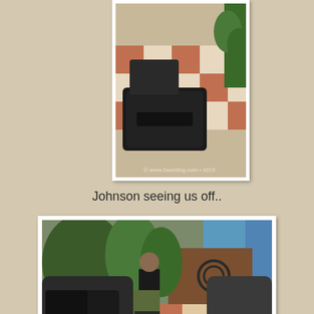[Figure (photo): Photo of packed luggage/bags on a tiled floor, taken from above, with a watermark at bottom right]
Johnson seeing us off..
[Figure (photo): Photo of a man standing between motorcycles loaded with luggage in a courtyard with tiled floor and plants in background, watermark visible]
Tough job carrying luggage from upstairs.. Monjit taking a breather.
[Figure (photo): Photo of trees and power lines, partially visible at the bottom of the page]